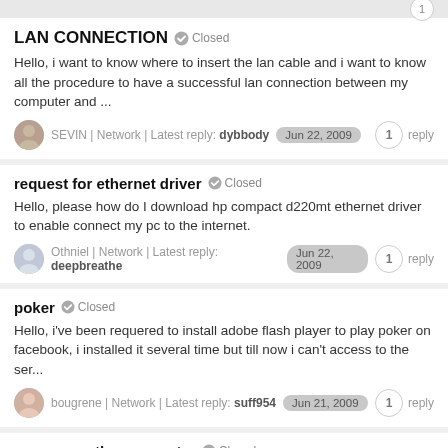LAN CONNECTION Closed
Hello, i want to know where to insert the lan cable and i want to know all the procedure to have a successful lan connection between my computer and ...
SEVIN | Network | Latest reply: dybbody Jun 22, 2009 1 reply
request for ethernet driver Closed
Hello, please how do I download hp compact d220mt ethernet driver to enable connect my pc to the internet.
Othniel | Network | Latest reply: deepbreathe Jun 22, 2009 1 reply
poker Closed
Hello, i've been requered to install adobe flash player to play poker on facebook, i installed it several time but till now i can't access to the ser...
bougrene | Network | Latest reply: suff954 Jun 21, 2009 1 reply
access another computer Closed